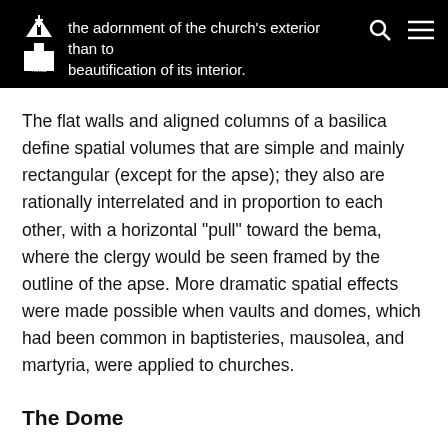the adornment of the church's exterior than to beautification of its interior.
The flat walls and aligned columns of a basilica define spatial volumes that are simple and mainly rectangular (except for the apse); they also are rationally interrelated and in proportion to each other, with a horizontal "pull" toward the bema, where the clergy would be seen framed by the outline of the apse. More dramatic spatial effects were made possible when vaults and domes, which had been common in baptisteries, mausolea, and martyria, were applied to churches.
The Dome